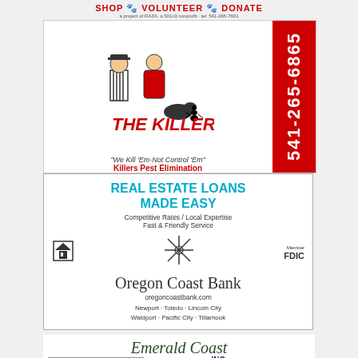[Figure (infographic): SHOP VOLUNTEER DONATE banner — a project of RAZA, a 501c3 nonprofit. Paw print icons between words.]
[Figure (infographic): The Killers Pest Elimination advertisement. Red vertical phone number bar on right reading 541-265-6865. Cartoon illustration of pest killers couple with dog and ant. Tagline: We Kill Em-Not Control Em. Killers Pest Elimination in red text.]
[Figure (infographic): Oregon Coast Bank advertisement. Headline: REAL ESTATE LOANS MADE EASY. Competitive Rates / Local Expertise, Fast & Friendly Service. Equal housing logo, compass star, Member FDIC. oregoncoastbank.com. Newport · Toledo · Lincoln City, Waldport · Pacific City · Tillamook.]
[Figure (infographic): Emerald Coast Realty Inc. Newport Branch advertisement. Photo of Sara Bell, Broker. Italic script Emerald Coast heading, REALTY INC in bold blue, Newport Branch italic, Sara Bell in red italic, BROKER in blue.]